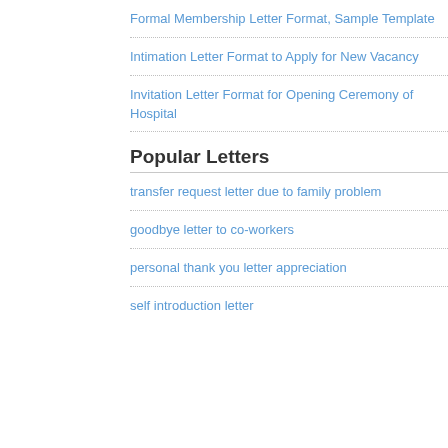Formal Membership Letter Format, Sample Template
Intimation Letter Format to Apply for New Vacancy
Invitation Letter Format for Opening Ceremony of Hospital
Popular Letters
transfer request letter due to family problem
goodbye letter to co-workers
personal thank you letter appreciation
self introduction letter